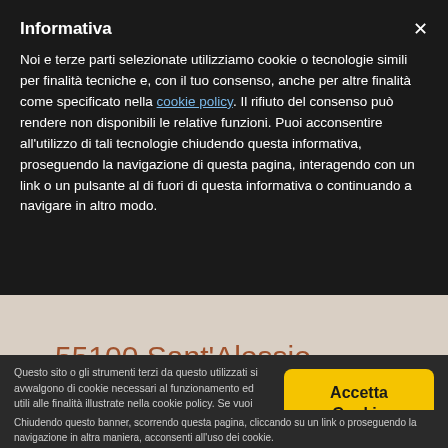Informativa
Noi e terze parti selezionate utilizziamo cookie o tecnologie simili per finalità tecniche e, con il tuo consenso, anche per altre finalità come specificato nella cookie policy. Il rifiuto del consenso può rendere non disponibili le relative funzioni. Puoi acconsentire all'utilizzo di tali tecnologie chiudendo questa informativa, proseguendo la navigazione di questa pagina, interagendo con un link o un pulsante al di fuori di questa informativa o continuando a navigare in altro modo.
55100 Sant'Alessio
Lucca (LU)
Questo sito o gli strumenti terzi da questo utilizzati si avvalgono di cookie necessari al funzionamento ed utili alle finalità illustrate nella cookie policy. Se vuoi saperne di più o negare il consenso a tutti o ad alcuni cookie, consulta la Privacy e Cookie Policy.
Accetta Cookie
Chiudendo questo banner, scorrendo questa pagina, cliccando su un link o proseguendo la navigazione in altra maniera, acconsenti all'uso dei cookie.